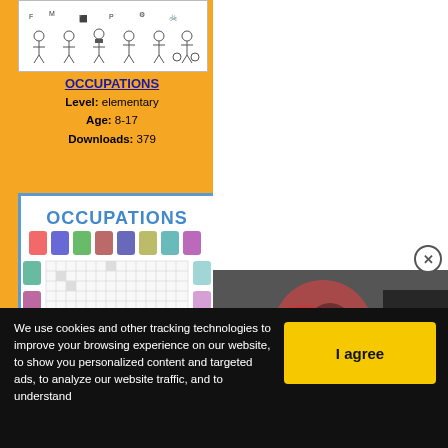[Figure (illustration): Worksheet thumbnail showing stick figures of various occupations with numbers]
OCCUPATIONS
Level: elementary
Age: 8-17
Downloads: 379
[Figure (illustration): Occupations crossword puzzle worksheet with colorful cartoon characters of various professions]
[Figure (photo): Video thumbnail showing gym equipment - The Best Home Gym Equipment]
We use cookies and other tracking technologies to improve your browsing experience on our website, to show you personalized content and targeted ads, to analyze our website traffic, and to understand